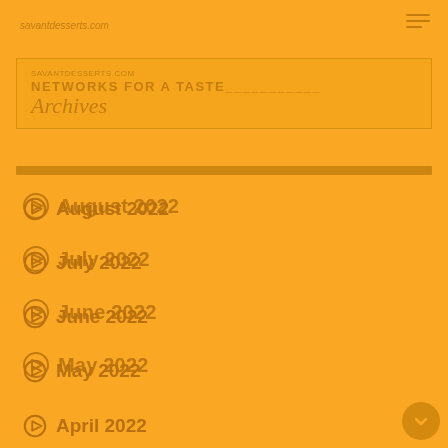SAVANTDESSERTS.COM | NETWORKS FOR A TASTE | Archives
August 2022
July 2022
June 2022
May 2022
April 2022
March 2022
February 2022